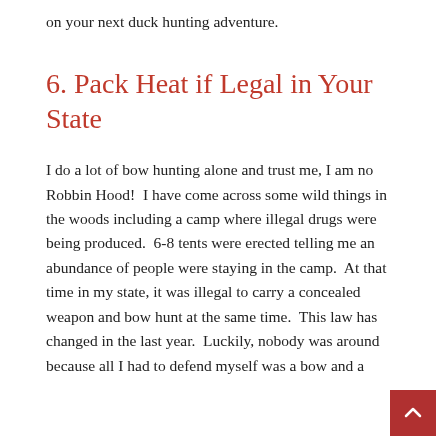on your next duck hunting adventure.
6. Pack Heat if Legal in Your State
I do a lot of bow hunting alone and trust me, I am no Robbin Hood!  I have come across some wild things in the woods including a camp where illegal drugs were being produced.  6-8 tents were erected telling me an abundance of people were staying in the camp.  At that time in my state, it was illegal to carry a concealed weapon and bow hunt at the same time.  This law has changed in the last year.  Luckily, nobody was around because all I had to defend myself was a bow and a